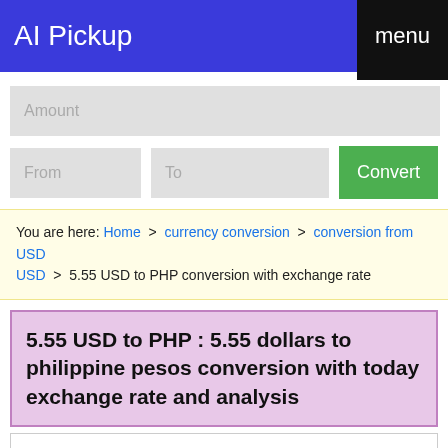AI Pickup   menu
[Figure (screenshot): Currency converter form with Amount input, From and To dropdowns, and a green Convert button]
You are here: Home > currency conversion > conversion from USD > 5.55 USD to PHP conversion with exchange rate
5.55 USD to PHP : 5.55 dollars to philippine pesos conversion with today exchange rate and analysis
You have just converted 5.55 dollars to philippine pesos with exchange rate of 55.967496, and 5.55 USD to PHP is 310.6196 philippine pesos. That is, 5.55 dollars in philippine pesos equal to 310.6196. Today 5.55 dollars to philippine pesos conversion